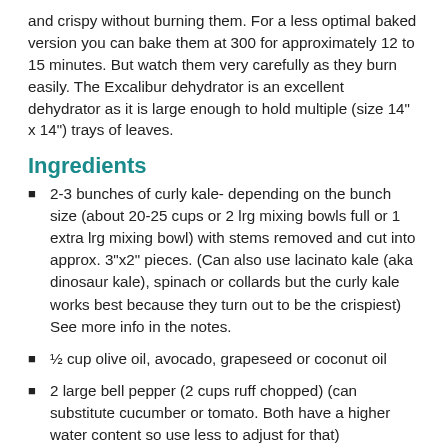and crispy without burning them. For a less optimal baked version you can bake them at 300 for approximately 12 to 15 minutes. But watch them very carefully as they burn easily. The Excalibur dehydrator is an excellent dehydrator as it is large enough to hold multiple (size 14" x 14") trays of leaves.
Ingredients
2-3 bunches of curly kale- depending on the bunch size (about 20-25 cups or 2 lrg mixing bowls full or 1 extra lrg mixing bowl) with stems removed and cut into approx. 3"x2" pieces. (Can also use lacinato kale (aka dinosaur kale), spinach or collards but the curly kale works best because they turn out to be the crispiest) See more info in the notes.
½ cup olive oil, avocado, grapeseed or coconut oil
2 large bell pepper (2 cups ruff chopped) (can substitute cucumber or tomato. Both have a higher water content so use less to adjust for that)
¾ tsp Himalayan sea salt
2 tsp non salt vegetable seasoning of choice (I use Kirkland brand No salt seasoning from Costco)